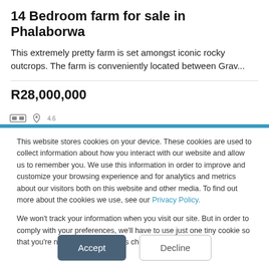14 Bedroom farm for sale in Phalaborwa
This extremely pretty farm is set amongst iconic rocky outcrops. The farm is conveniently located between Grav...
R28,000,000
This website stores cookies on your device. These cookies are used to collect information about how you interact with our website and allow us to remember you. We use this information in order to improve and customize your browsing experience and for analytics and metrics about our visitors both on this website and other media. To find out more about the cookies we use, see our Privacy Policy.
We won't track your information when you visit our site. But in order to comply with your preferences, we'll have to use just one tiny cookie so that you're not asked to make this choice again.